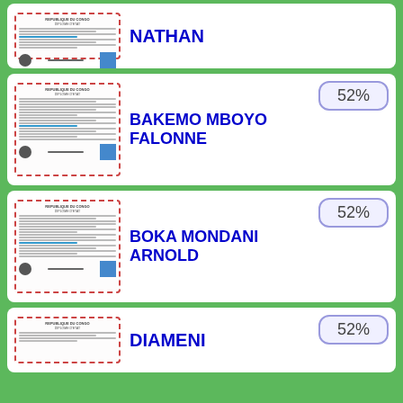[Figure (photo): Diploma document thumbnail - first card (partial, top)]
NATHAN
[Figure (photo): Diploma document thumbnail - BAKEMO MBOYO FALONNE card]
52%
BAKEMO MBOYO FALONNE
[Figure (photo): Diploma document thumbnail - BOKA MONDANI ARNOLD card]
52%
BOKA MONDANI ARNOLD
[Figure (photo): Diploma document thumbnail - DIAMENI card (partial, bottom)]
52%
DIAMENI